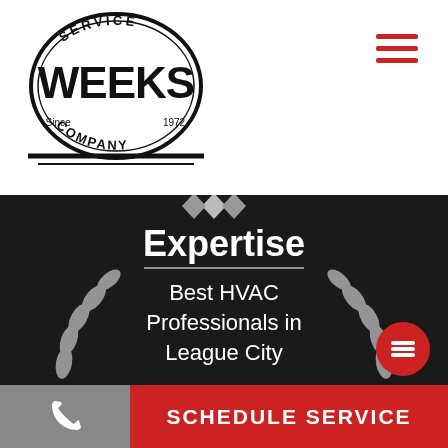[Figure (logo): Weeks Service Company logo — circular badge with 'SERVICE' at top, 'WEEKS' large in center, 'COMPANY' at bottom, 'Since 1972']
[Figure (other): Hamburger menu icon with three red horizontal lines]
[Figure (other): Expertise award badge on dark background: 'Expertise' heading, 'Best HVAC Professionals in League City']
Hi there, have a question? Text us here.
close
SCHEDULE SERVICE